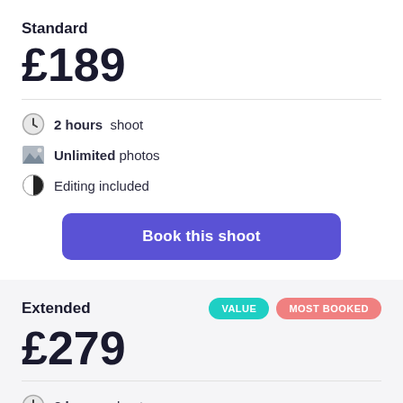Standard
£189
2 hours shoot
Unlimited photos
Editing included
Book this shoot
Extended
VALUE
MOST BOOKED
£279
3 hours shoot
Unlimited photos
Editing included